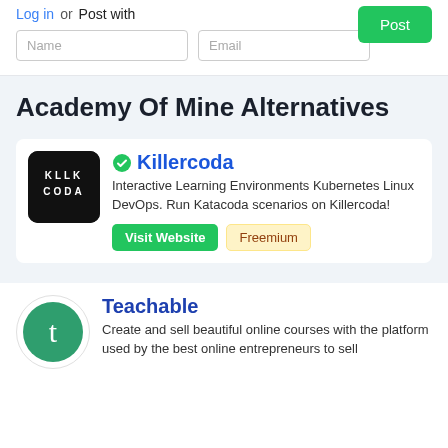Log in or Post with
Academy Of Mine Alternatives
Killercoda
Interactive Learning Environments Kubernetes Linux DevOps. Run Katacoda scenarios on Killercoda!
Visit Website  Freemium
Teachable
Create and sell beautiful online courses with the platform used by the best online entrepreneurs to sell